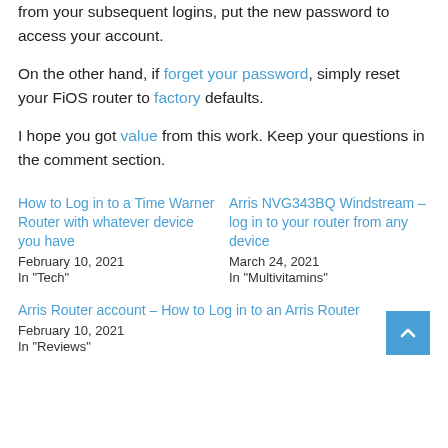from your subsequent logins, put the new password to access your account.
On the other hand, if forget your password, simply reset your FiOS router to factory defaults.
I hope you got value from this work. Keep your questions in the comment section.
How to Log in to a Time Warner Router with whatever device you have
February 10, 2021
In "Tech"
Arris NVG343BQ Windstream – log in to your router from any device
March 24, 2021
In "Multivitamins"
Arris Router account – How to Log in to an Arris Router
February 10, 2021
In "Reviews"